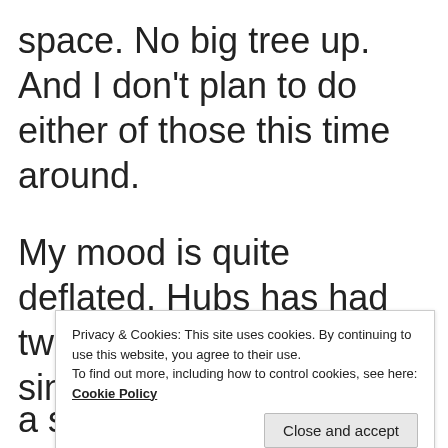space. No big tree up. And I don't plan to do either of those this time around.
My mood is quite deflated. Hubs has had two health emergencies since mid-
Privacy & Cookies: This site uses cookies. By continuing to use this website, you agree to their use.
To find out more, including how to control cookies, see here: Cookie Policy
a stay at University